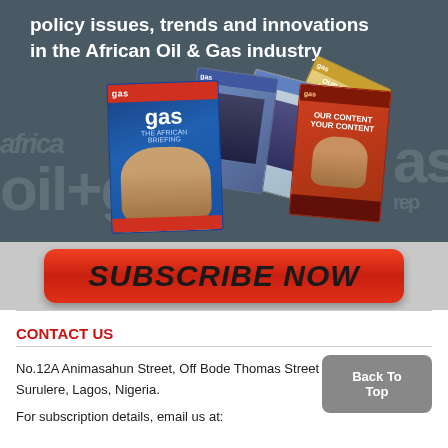[Figure (illustration): Advertisement banner for Africa Oil+Gas magazine subscription featuring stacked magazine covers and a red Subscribe Now button on a dark blue-grey background]
CONTACT US
No.12A Animasahun Street, Off Bode Thomas Street Surulere, Lagos, Nigeria.
For subscription details, email us at: